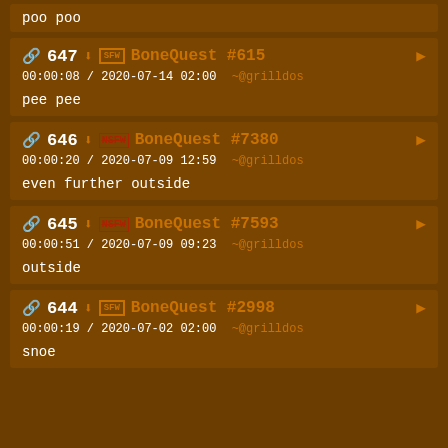poo poo
🔗 647 ⬇ SFW BoneQuest #615 ▶
00:00:08 / 2020-07-14 02:00  ~@grilldos
pee pee
🔗 646 ⬇ NSFW BoneQuest #7380 ▶
00:00:20 / 2020-07-09 12:59  ~@grilldos
even further outside
🔗 645 ⬇ NSFW BoneQuest #7593 ▶
00:00:51 / 2020-07-09 09:23  ~@grilldos
outside
🔗 644 ⬇ SFW BoneQuest #2998 ▶
00:00:19 / 2020-07-02 02:00  ~@grilldos
snoe